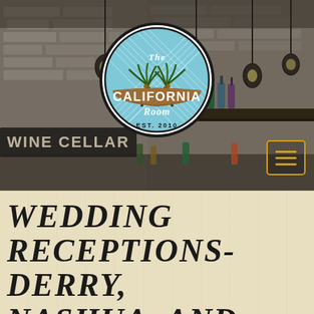[Figure (photo): Bar interior with white brick walls, hanging industrial lights, shelves with liquor bottles, dark wood bar]
[Figure (logo): The California Room logo - circular badge with blue crosshatch background, palm trees, brown banner with 'California', script 'Room', 'The' at top, 'EST. 2010' at bottom]
WEDDING RECEPTIONS- DERRY, NASHUA, AND MANCHESTER